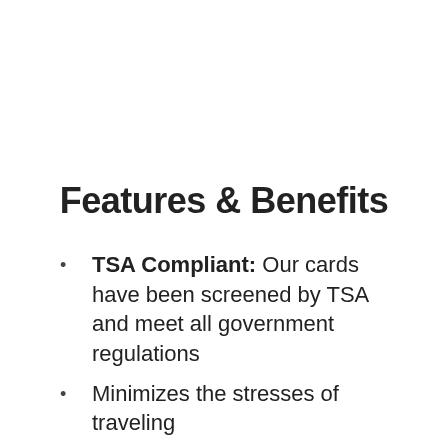Features & Benefits
TSA Compliant: Our cards have been screened by TSA and meet all government regulations
Minimizes the stresses of traveling